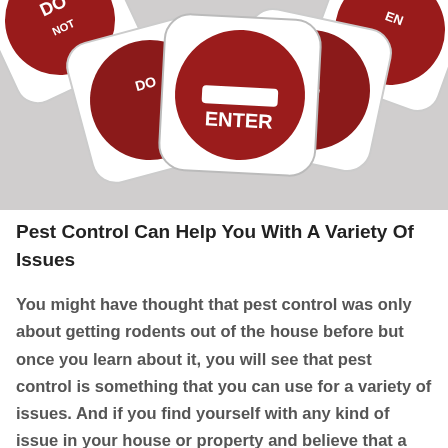[Figure (photo): Multiple overlapping red and white circular 'DO NOT ENTER' signs stacked and fanned out against a light background.]
Pest Control Can Help You With A Variety Of Issues
You might have thought that pest control was only about getting rodents out of the house before but once you learn about it, you will see that pest control is something that you can use for a variety of issues. And if you find yourself with any kind of issue in your house or property and believe that a pest control service might be able